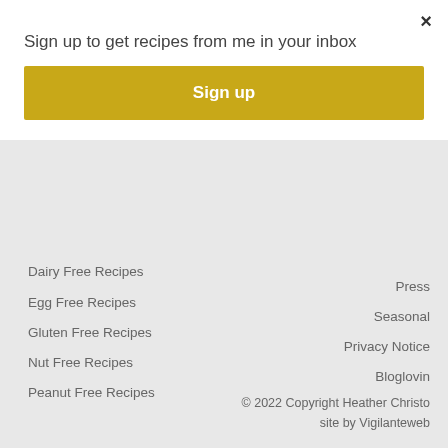Sign up to get recipes from me in your inbox
Sign up
Dairy Free Recipes
Egg Free Recipes
Gluten Free Recipes
Nut Free Recipes
Peanut Free Recipes
Soy Free Recipes
Vegan Recipes
Press
Seasonal
Privacy Notice
Bloglovin
© 2022 Copyright Heather Christo
site by Vigilanteweb
Dig in here to find the most delicious allergy free recipes and more! Gluten, Dairy and Egg Free since 2014 and you won't miss a thing!